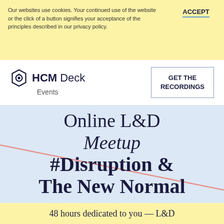Our websites use cookies. Your continued use of the website or the click of a button signifies your acceptance of the principles described in our privacy policy.
ACCEPT
[Figure (logo): HCM Deck Events logo with hexagon icon]
GET THE RECORDINGS
Online L&D Meetup #Disruption & The New Normal
48 hours dedicated to you — L&D